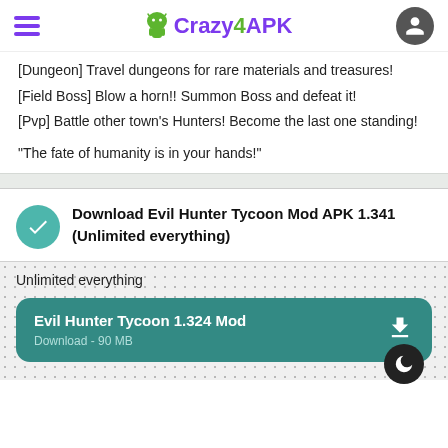Crazy4APK
[Dungeon] Travel dungeons for rare materials and treasures!
[Field Boss] Blow a horn!! Summon Boss and defeat it!
[Pvp] Battle other town's Hunters! Become the last one standing!
"The fate of humanity is in your hands!"
Download Evil Hunter Tycoon Mod APK 1.341 (Unlimited everything)
Unlimited everything
Evil Hunter Tycoon 1.324 Mod
Download - 90 MB